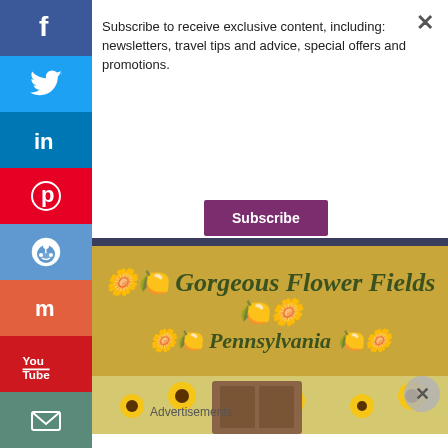Subscribe to receive exclusive content, including: newsletters, travel tips and advice, special offers and promotions.
Subscribe
[Figure (screenshot): Social media share sidebar with icons for Facebook, Twitter, LinkedIn, Pinterest, Reddit, Mix, YouTube, and email]
[Figure (illustration): Golden banner with italic bold dark green text: Gorgeous Flower Fields Pennsylvania, decorated with flower emojis]
[Figure (photo): Photo of sunflowers and a rustic wooden door in a flower field]
Advertisements